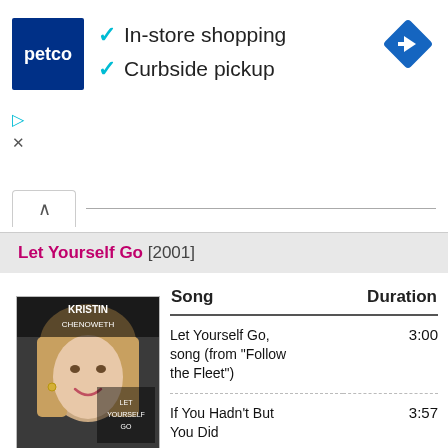[Figure (screenshot): Petco advertisement banner with logo, checkmarks for In-store shopping and Curbside pickup, and a blue navigation arrow icon]
In-store shopping
Curbside pickup
Let Yourself Go [2001]
[Figure (photo): Album cover for Kristin Chenoweth - Let Yourself Go (2001), showing a smiling blonde woman]
| Song | Duration |
| --- | --- |
| Let Yourself Go, song (from "Follow the Fleet") | 3:00 |
| If You Hadn't But You Did | 3:57 |
| How Long Has This Been Going On?, song (from Rosalie, musical) | 3:52 |